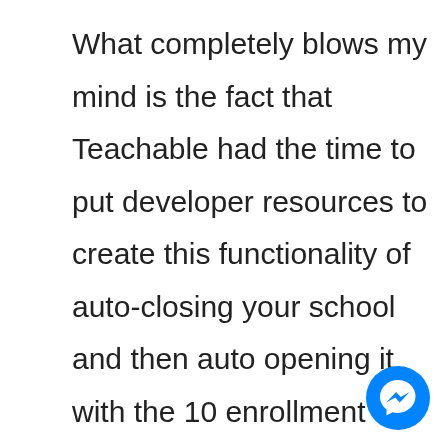What completely blows my mind is the fact that Teachable had the time to put developer resources to create this functionality of auto-closing your school and then auto opening it with the 10 enrollment threshold.

I currently work in the IT world and this is not an easy task to do.

They would have had to go through